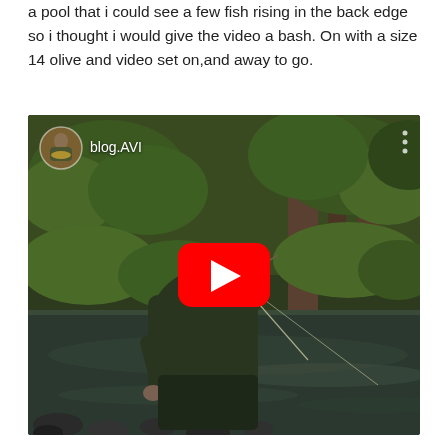a pool that i could see a few fish rising in the back edge so i thought i would give the video a bash. On with a size 14 olive and video set on,and away to go.
[Figure (screenshot): A video thumbnail showing a man in green waders/jacket crouching at the edge of a rocky stream surrounded by lush green forest vegetation, releasing or catching a fish. A red YouTube play button overlay is centered on the image. In the top-left corner is a circular avatar of a man holding a fish, next to the text 'blog.AVI'. Three white dots appear in the top-right corner.]